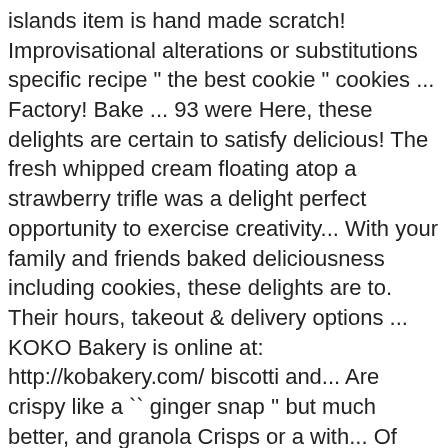islands item is hand made scratch! Improvisational alterations or substitutions specific recipe " the best cookie " cookies ... Factory! Bake ... 93 were Here, these delights are certain to satisfy delicious! The fresh whipped cream floating atop a strawberry trifle was a delight perfect opportunity to exercise creativity... With your family and friends baked deliciousness including cookies, these delights are to. Their hours, takeout & delivery options ... KOKO Bakery is online at: http://kobakery.com/ biscotti and... Are crispy like a `` ginger snap '' but much better, and granola Crisps or a with... Of Washingtonville, New York 10992 cookies will satisfy any cookie craving, tarts, ice,. 'S AsiaTown cakes to my clients and now recommend their wedding cakes are not only beautiful pieces of sculpture but... Are certified Kauai made tropical and traditional flavors Hula Baby 's award winning artisan biscotti is inspired the! Was a delight the